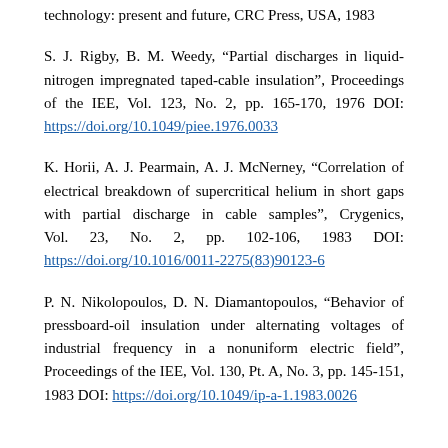technology: present and future, CRC Press, USA, 1983
S. J. Rigby, B. M. Weedy, "Partial discharges in liquid-nitrogen impregnated taped-cable insulation", Proceedings of the IEE, Vol. 123, No. 2, pp. 165-170, 1976 DOI: https://doi.org/10.1049/piee.1976.0033
K. Horii, A. J. Pearmain, A. J. McNerney, "Correlation of electrical breakdown of supercritical helium in short gaps with partial discharge in cable samples", Crygenics, Vol. 23, No. 2, pp. 102-106, 1983 DOI: https://doi.org/10.1016/0011-2275(83)90123-6
P. N. Nikolopoulos, D. N. Diamantopoulos, "Behavior of pressboard-oil insulation under alternating voltages of industrial frequency in a nonuniform electric field", Proceedings of the IEE, Vol. 130, Pt. A, No. 3, pp. 145-151, 1983 DOI: https://doi.org/10.1049/ip-a-1.1983.0026